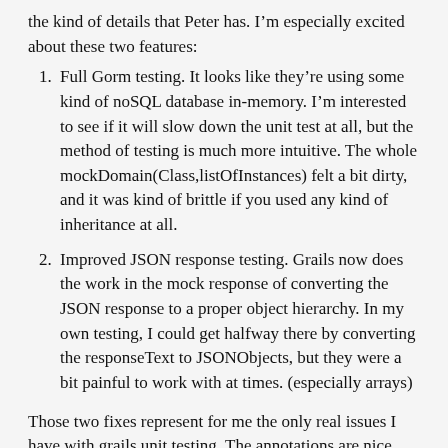the kind of details that Peter has. I'm especially excited about these two features:
Full Gorm testing. It looks like they're using some kind of noSQL database in-memory. I'm interested to see if it will slow down the unit test at all, but the method of testing is much more intuitive. The whole mockDomain(Class,listOfInstances) felt a bit dirty, and it was kind of brittle if you used any kind of inheritance at all.
Improved JSON response testing. Grails now does the work in the mock response of converting the JSON response to a proper object hierarchy. In my own testing, I could get halfway there by converting the responseText to JSONObjects, but they were a bit painful to work with at times. (especially arrays)
Those two fixes represent for me the only real issues I have with grails unit testing. The annotations are nice, but I had given up on the test hierarchy long ago. You can